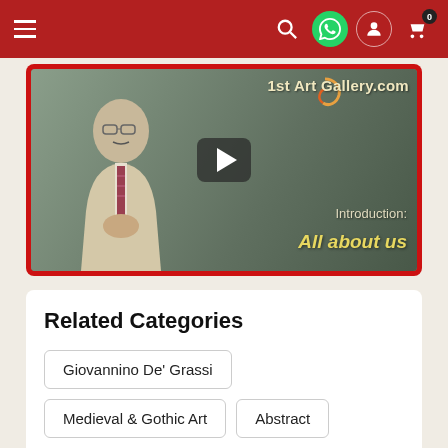1st Art Gallery navigation bar
[Figure (screenshot): Video thumbnail for 1st Art Gallery introduction video showing a man in a beige suit with a striped tie, with text '1st Art Gallery.com', 'Introduction: All about us' and a play button overlay]
Related Categories
Giovannino De' Grassi
Medieval & Gothic Art
Abstract
Figurative